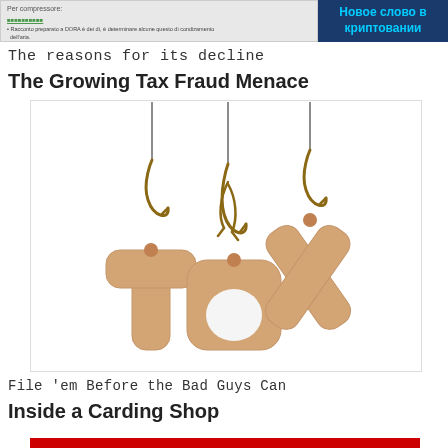[Figure (screenshot): Top banner with a document screenshot on the left and a dark blue panel on the right with Cyrillic text 'Новое слово в криптовании' in cyan]
The reasons for its decline
The Growing Tax Fraud Menace
[Figure (photo): Photo of wooden letter shapes spelling 'tax' each hanging from fish hooks on white background]
File 'em Before the Bad Guys Can
Inside a Carding Shop